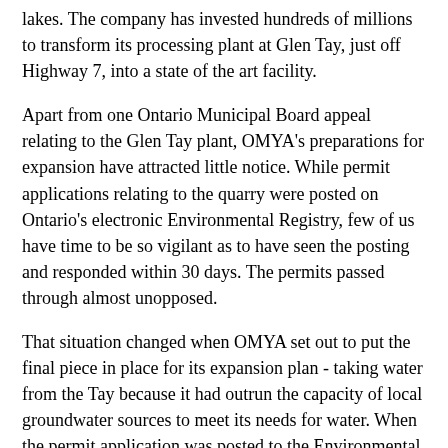lakes. The company has invested hundreds of millions to transform its processing plant at Glen Tay, just off Highway 7, into a state of the art facility.
Apart from one Ontario Municipal Board appeal relating to the Glen Tay plant, OMYA's preparations for expansion have attracted little notice. While permit applications relating to the quarry were posted on Ontario's electronic Environmental Registry, few of us have time to be so vigilant as to have seen the posting and responded within 30 days. The permits passed through almost unopposed.
That situation changed when OMYA set out to put the final piece in place for its expansion plan - taking water from the Tay because it had outrun the capacity of local groundwater sources to meet its needs for water. When the permit application was posted to the Environmental Registry, an astonishing 283 letters of concern were sent to the Ontario Ministry of the Environment. Ninety per cent of these letters called for some kind of environmental assessment.
There was universal concern that OMYA wanted water from the Tay before adequate information had been collected about its ability to meet OMYA's needs. The Tay watershed is already stressed because it serves as a reservoir of water to help maintain the Rideau Canal at navigation levels during the summer months. More than that, Tay's lakes and its four controlled dams help of...